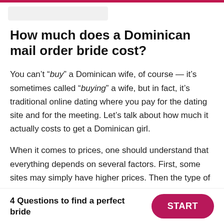How much does a Dominican mail order bride cost?
You can't “buy” a Dominican wife, of course — it’s sometimes called “buying” a wife, but in fact, it’s traditional online dating where you pay for the dating site and for the meeting. Let’s talk about how much it actually costs to get a Dominican girl.
When it comes to prices, one should understand that everything depends on several factors. First, some sites may simply have higher prices. Then the type of dating site
4 Questions to find a perfect bride